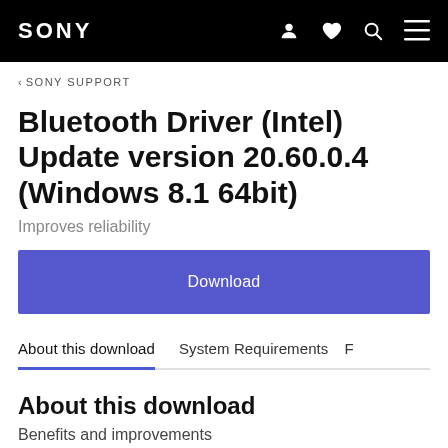SONY
< SONY SUPPORT
Bluetooth Driver (Intel) Update version 20.60.0.4 (Windows 8.1 64bit)
Improves reliability
Download
About this download   System Requirements   F
About this download
Benefits and improvements